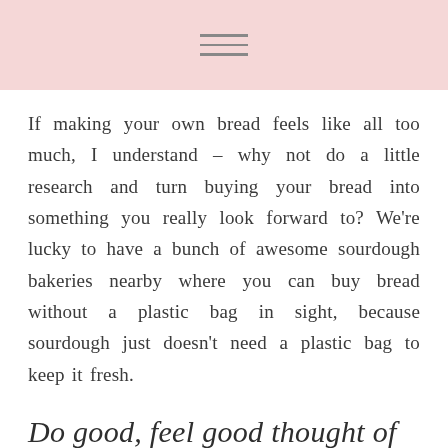If making your own bread feels like all too much, I understand – why not do a little research and turn buying your bread into something you really look forward to? We're lucky to have a bunch of awesome sourdough bakeries nearby where you can buy bread without a plastic bag in sight, because sourdough just doesn't need a plastic bag to keep it fresh.
Do good, feel good thought of the week – try to buy